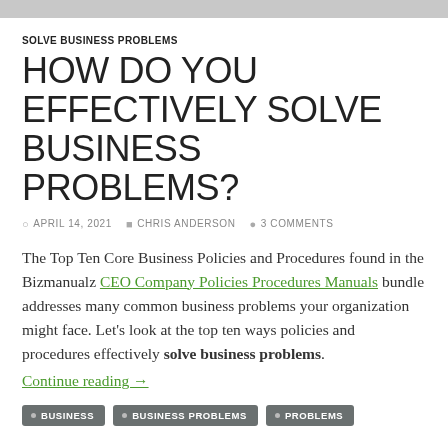SOLVE BUSINESS PROBLEMS
HOW DO YOU EFFECTIVELY SOLVE BUSINESS PROBLEMS?
APRIL 14, 2021   CHRIS ANDERSON   3 COMMENTS
The Top Ten Core Business Policies and Procedures found in the Bizmanualz CEO Company Policies Procedures Manuals bundle addresses many common business problems your organization might face. Let's look at the top ten ways policies and procedures effectively solve business problems. Continue reading →
BUSINESS
BUSINESS PROBLEMS
PROBLEMS